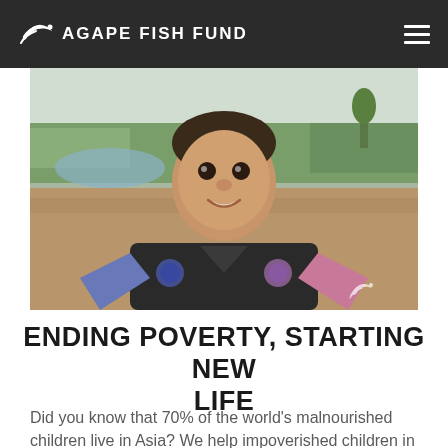AGAPE FISH FUND
[Figure (photo): Close-up photo of a young Asian boy smiling, wearing a black and blue/pink jersey, standing outdoors with a dirt path and green fields in the background.]
ENDING POVERTY, STARTING NEW LIFE
Did you know that 70% of the world's malnourished children live in Asia? We help impoverished children in Asia